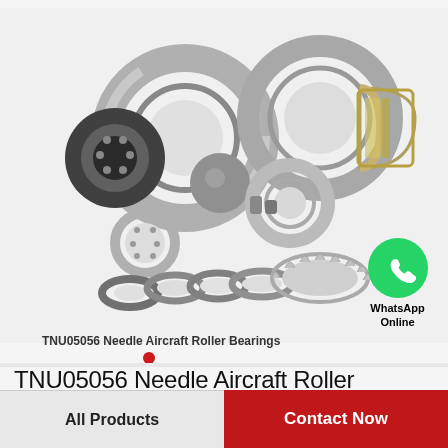[Figure (photo): Multiple needle roller bearings and bearing components including rings, balls, and seals arranged in a product display photo. WhatsApp green icon with phone symbol overlaid at right.]
TNU05056 Needle Aircraft Roller Bearings
TNU05056 Needle Aircraft Roller Bearings
WhatsApp Online
All Products
Contact Now